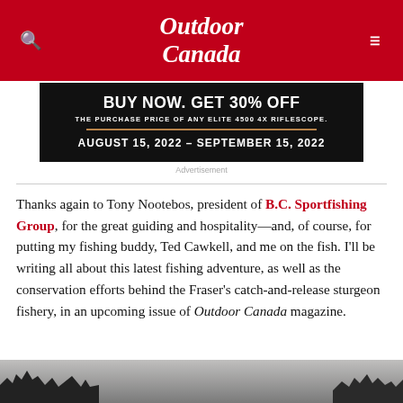Outdoor Canada
[Figure (other): Advertisement banner: BUY NOW. GET 30% OFF THE PURCHASE PRICE OF ANY ELITE 4500 4X RIFLESCOPE. AUGUST 15, 2022 – SEPTEMBER 15, 2022]
Advertisement
Thanks again to Tony Nootebos, president of B.C. Sportfishing Group, for the great guiding and hospitality—and, of course, for putting my fishing buddy, Ted Cawkell, and me on the fish. I'll be writing all about this latest fishing adventure, as well as the conservation efforts behind the Fraser's catch-and-release sturgeon fishery, in an upcoming issue of Outdoor Canada magazine.
[Figure (photo): Bottom partial photo showing silhouetted treeline against a grey overcast sky over a body of water]